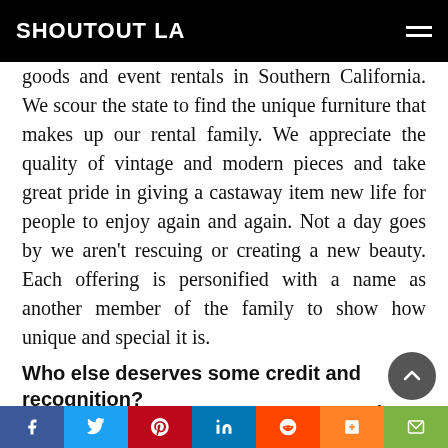SHOUTOUT LA
goods and event rentals in Southern California. We scour the state to find the unique furniture that makes up our rental family. We appreciate the quality of vintage and modern pieces and take great pride in giving a castaway item new life for people to enjoy again and again. Not a day goes by we aren’t rescuing or creating a new beauty. Each offering is personified with a name as another member of the family to show how unique and special it is.
Who else deserves some credit and recognition?
Without the love, support and handy work of my
f  (twitter)  p  in  (reddit)  m  (email)  incredible husband, Pete, none of our success